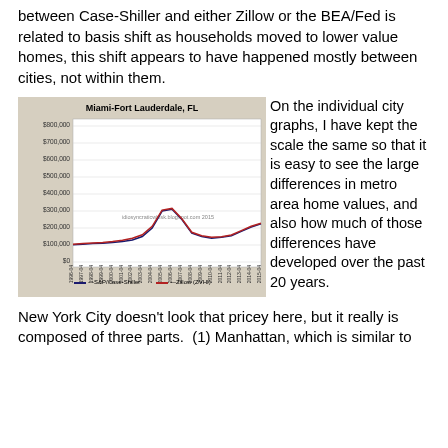between Case-Shiller and either Zillow or the BEA/Fed is related to basis shift as households moved to lower value homes, this shift appears to have happened mostly between cities, not within them.
[Figure (line-chart): Miami-Fort Lauderdale, FL]
On the individual city graphs, I have kept the scale the same so that it is easy to see the large differences in metro area home values, and also how much of those differences have developed over the past 20 years.
New York City doesn't look that pricey here, but it really is composed of three parts.  (1) Manhattan, which is similar to